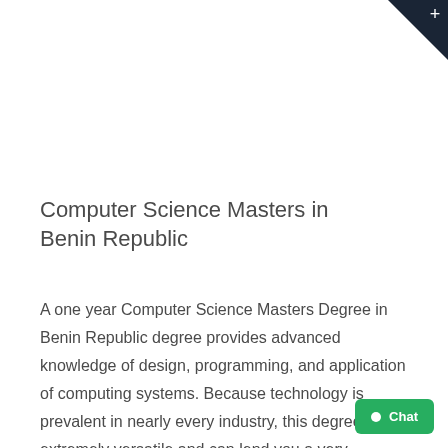Computer Science Masters in Benin Republic
A one year Computer Science Masters Degree in Benin Republic degree provides advanced knowledge of design, programming, and application of computing systems. Because technology is prevalent in nearly every industry, this degree is extremely versatile and can lend you a very